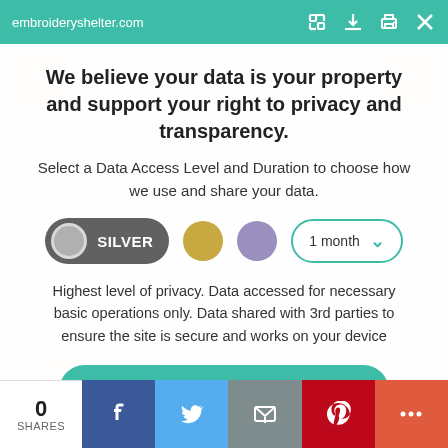embroideryshelter.com
We believe your data is your property and support your right to privacy and transparency.
Select a Data Access Level and Duration to choose how we use and share your data.
[Figure (infographic): Privacy level selector showing SILVER toggle selected (dark grey pill with grey circle and SILVER label), a gold circle, a purple circle, and a dropdown selector showing '1 month' with a teal chevron arrow.]
Highest level of privacy. Data accessed for necessary basic operations only. Data shared with 3rd parties to ensure the site is secure and works on your device
Save my preferences
0 SHARES